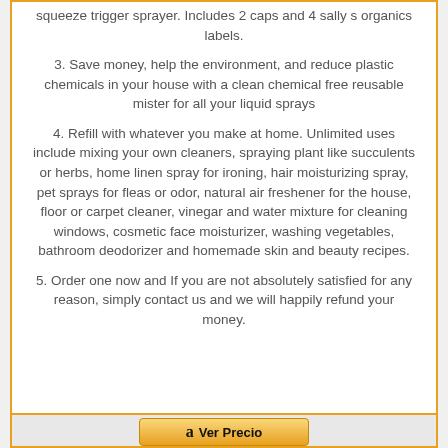squeeze trigger sprayer. Includes 2 caps and 4 sally s organics labels.
3. Save money, help the environment, and reduce plastic chemicals in your house with a clean chemical free reusable mister for all your liquid sprays
4. Refill with whatever you make at home. Unlimited uses include mixing your own cleaners, spraying plant like succulents or herbs, home linen spray for ironing, hair moisturizing spray, pet sprays for fleas or odor, natural air freshener for the house, floor or carpet cleaner, vinegar and water mixture for cleaning windows, cosmetic face moisturizer, washing vegetables, bathroom deodorizer and homemade skin and beauty recipes.
5. Order one now and If you are not absolutely satisfied for any reason, simply contact us and we will happily refund your money.